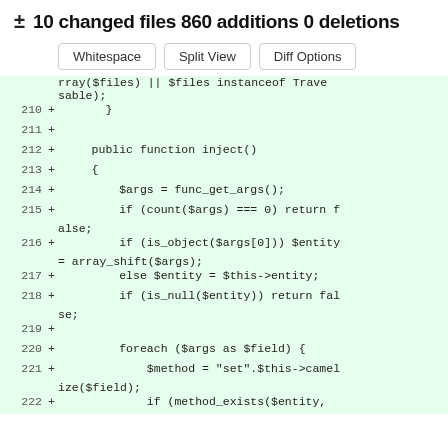± 10 changed files 860 additions 0 deletions
Whitespace  Split View  Diff Options
[Figure (screenshot): Code diff view showing PHP code additions with line numbers 210-222, green background indicating added lines with + markers]
rray($files) || $files instanceof Traversable);
210 +       }
211 +
212 +     public function inject()
213 +     {
214 +         $args = func_get_args();
215 +         if (count($args) === 0) return false;
216 +         if (is_object($args[0])) $entity = array_shift($args);
217 +         else $entity = $this->entity;
218 +         if (is_null($entity)) return false;
219 +
220 +         foreach ($args as $field) {
221 +             $method = "set".$this->camelize($field);
222 +             if (method_exists($entity,